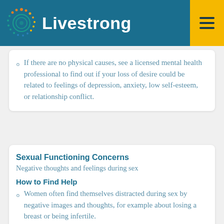Livestrong
If there are no physical causes, see a licensed mental health professional to find out if your loss of desire could be related to feelings of depression, anxiety, low self-esteem, or relationship conflict.
Sexual Functioning Concerns
Negative thoughts and feelings during sex
How to Find Help
Women often find themselves distracted during sex by negative images and thoughts, for example about losing a breast or being infertile.